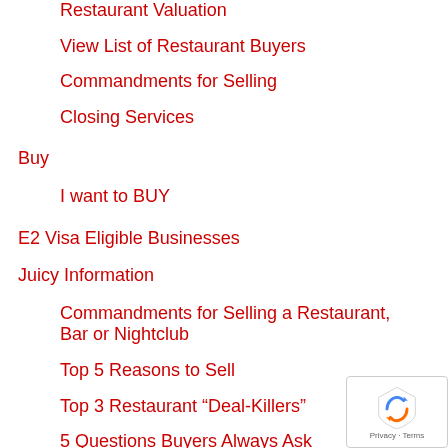Restaurant Valuation
View List of Restaurant Buyers
Commandments for Selling
Closing Services
Buy
I want to BUY
E2 Visa Eligible Businesses
Juicy Information
Commandments for Selling a Restaurant, Bar or Nightclub
Top 5 Reasons to Sell
Top 3 Restaurant “Deal-Killers”
5 Questions Buyers Always Ask
Top 5 Reasons to Buy